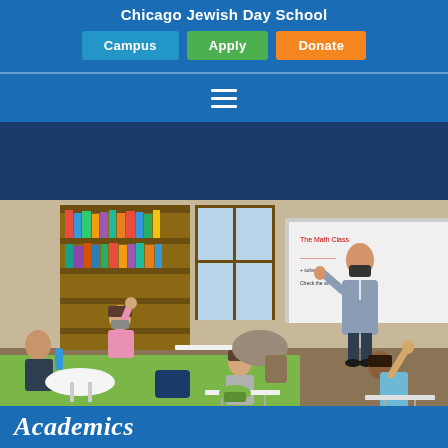Chicago Jewish Day School
Campus
Apply
Donate
[Figure (photo): Classroom scene with masked teacher standing at a whiteboard and students sitting at desks with hands raised. Bookshelves visible in the background.]
Academics